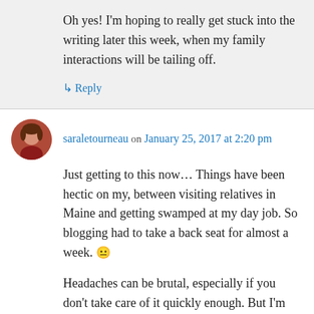Oh yes! I'm hoping to really get stuck into the writing later this week, when my family interactions will be tailing off.
↳ Reply
saraletourneau on January 25, 2017 at 2:20 pm
Just getting to this now… Things have been hectic on my, between visiting relatives in Maine and getting swamped at my day job. So blogging had to take a back seat for almost a week. 😐
Headaches can be brutal, especially if you don't take care of it quickly enough. But I'm glad you're feeling better now, and to know you